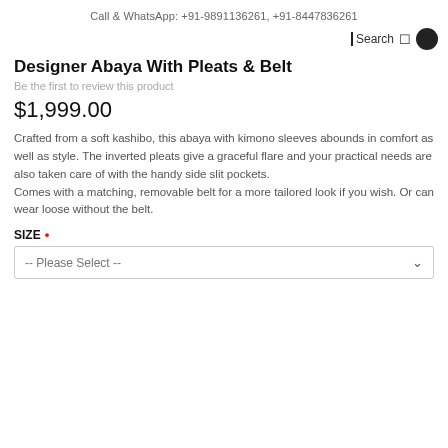Call & WhatsApp: +91-9891136261, +91-8447836261
Designer Abaya With Pleats & Belt
Be the first to review this product
$1,999.00
Crafted from a soft kashibo, this abaya with kimono sleeves abounds in comfort as well as style. The inverted pleats give a graceful flare and your practical needs are also taken care of with the handy side slit pockets.
Comes with a matching, removable belt for a more tailored look if you wish. Or can wear loose without the belt.
SIZE *
-- Please Select --